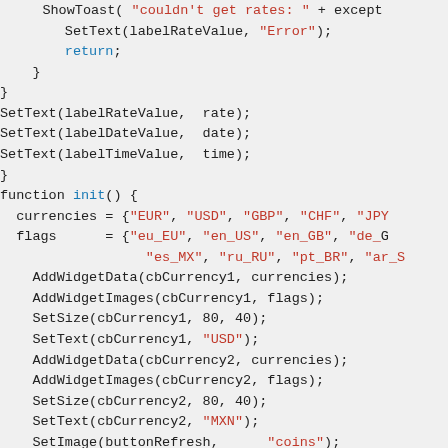[Figure (screenshot): Source code snippet showing a JavaScript/scripting function with SetText calls, a function init() block with currency and flag arrays, AddWidgetData, AddWidgetImages, SetSize, SetText, AddAction, SetFontColor calls.]